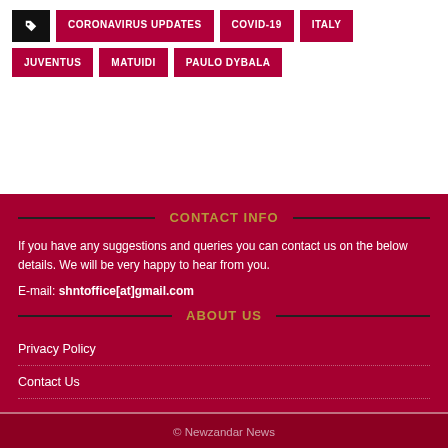CORONAVIRUS UPDATES
COVID-19
ITALY
JUVENTUS
MATUIDI
PAULO DYBALA
CONTACT INFO
If you have any suggestions and queries you can contact us on the below details. We will be very happy to hear from you.
E-mail: shntoffice[at]gmail.com
ABOUT US
Privacy Policy
Contact Us
© Newzandar News